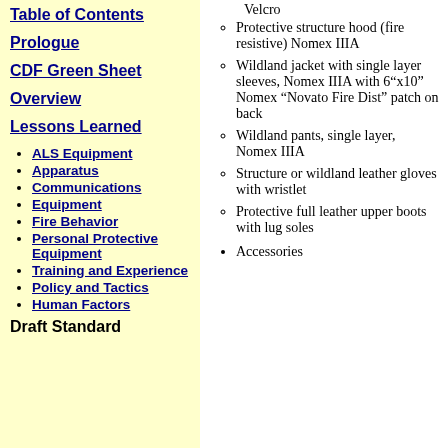Table of Contents
Prologue
CDF Green Sheet
Overview
Lessons Learned
ALS Equipment
Apparatus
Communications
Equipment
Fire Behavior
Personal Protective Equipment
Training and Experience
Policy and Tactics
Human Factors
Draft Standard
Velcro
Protective structure hood (fire resistive) Nomex IIIA
Wildland jacket with single layer sleeves, Nomex IIIA with 6”x10” Nomex “Novato Fire Dist” patch on back
Wildland pants, single layer, Nomex IIIA
Structure or wildland leather gloves with wristlet
Protective full leather upper boots with lug soles
Accessories